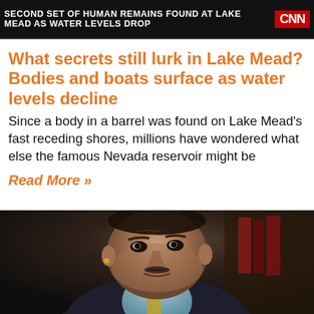[Figure (screenshot): CNN news banner showing headline: SECOND SET OF HUMAN REMAINS FOUND AT LAKE MEAD AS WATER LEVELS DROP with red CNN logo on right]
What secrets still lurk in Lake Mead? Bodies and boats surface as water levels decline
Since a body in a barrel was found on Lake Mead's fast receding shores, millions have wondered what else the famous Nevada reservoir might be
Read More »
[Figure (photo): Close-up photograph of an elderly man in a dark suit and light blue shirt, appearing to be in a formal or legal setting with books visible in the background]